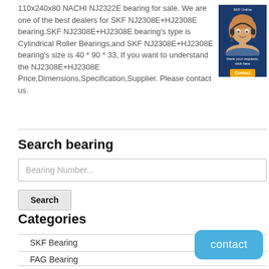110x240x80 NACHI NJ2322E bearing for sale. We are one of the best dealers for SKF NJ2308E+HJ2308E bearing.SKF NJ2308E+HJ2308E bearing's type is Cylindrical Roller Bearings,and SKF NJ2308E+HJ2308E bearing's size is 40 * 90 * 33, If you want to understand the NJ2308E+HJ2308E Price,Dimensions,Specification,Supplier. Please contact us.
[Figure (photo): Customer service representative with headset, SKF Online banner with contact button]
Search bearing
Bearing Number...
Search
Categories
SKF Bearing
FAG Bearing
TIMKEN Bearing